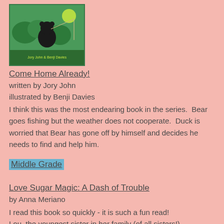[Figure (illustration): Book cover of 'Come Home Already!' showing a black bear with green background, illustrated by Benji Davies, text at bottom reads 'Jory John & Benji Davies']
Come Home Already!
written by Jory John
illustrated by Benji Davies
I think this was the most endearing book in the series.  Bear goes fishing but the weather does not cooperate.  Duck is worried that Bear has gone off by himself and decides he needs to find and help him.
Middle Grade
Love Sugar Magic: A Dash of Trouble
by Anna Meriano
I read this book so quickly - it is such a fun read!
Lou, the youngest sister in her family (of all sisters!) desperately wants to help her family in the family owned bakery to prepare for Día De Los Muertos but for now she's kept out until she turns a certain age.  But after some